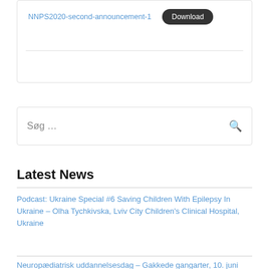NNPS2020-second-announcement-1  Download
[Figure (screenshot): Search box with placeholder text 'Søg ...' and a search icon on the right]
Latest News
Podcast: Ukraine Special #6 Saving Children With Epilepsy In Ukraine – Olha Tychkivska, Lviv City Children's Clinical Hospital, Ukraine
Neuropædiatrisk uddannelsesdag – Gakkede gangarter, 10. juni